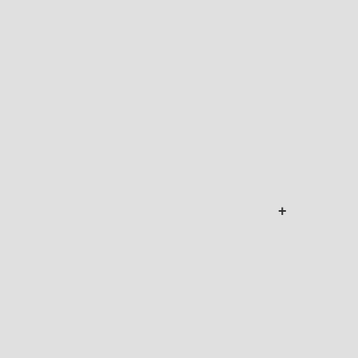[[Image:UserscriptList-Install.svg|25px|link=https://github.com/ROpdebee/mb-userscripts/raw/main/mb_validate_work_codes.user.js]]
|style="background:#66f;"|[[Image:UserscriptList-Source.svg|